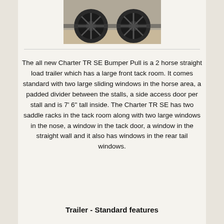[Figure (photo): Partial photo of trailer wheels/tires on a trailer, showing two black wheels with tires on a gravel surface]
The all new Charter TR SE Bumper Pull is a 2 horse straight load trailer which has a large front tack room. It comes standard with two large sliding windows in the horse area, a padded divider between the stalls, a side access door per stall and is 7' 6" tall inside. The Charter TR SE has two saddle racks in the tack room along with two large windows in the nose, a window in the tack door, a window in the straight wall and it also has windows in the rear tail windows.
Trailer - Standard features